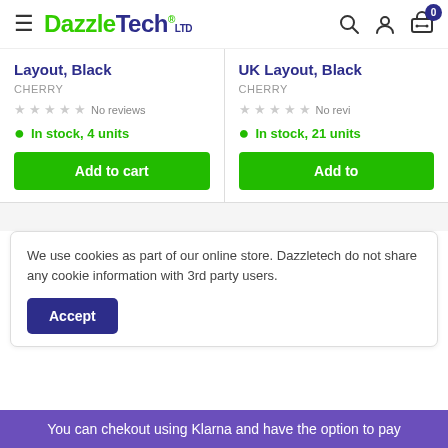DazzleTech LTD
Layout, Black
CHERRY
No reviews
In stock, 4 units
Add to cart
UK Layout, Black
CHERRY
No reviews
In stock, 21 units
Add to
We use cookies as part of our online store. Dazzletech do not share any cookie information with 3rd party users.
Accept
You can chekout using Klarna and have the option to pay